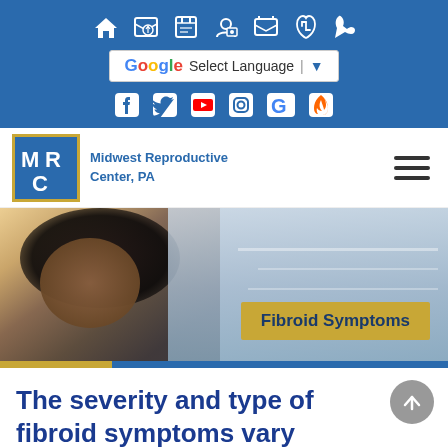[Figure (screenshot): Website top navigation bar on blue background with icons for home, map, calendar, profile, print, and phone]
[Figure (screenshot): Google Translate 'Select Language' widget with dropdown arrow]
[Figure (screenshot): Social media icons row: Facebook, Twitter, YouTube, Instagram, Google, RSS on blue background]
[Figure (logo): Midwest Reproductive Center, PA logo - MRC letters on blue square with gold border, with clinic name text]
[Figure (photo): Hero banner photo of a Black woman with dark curly hair, with yellow badge reading 'Fibroid Symptoms']
The severity and type of fibroid symptoms vary widely from woman to